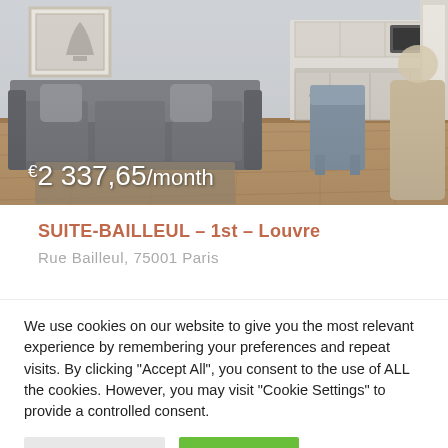[Figure (photo): Interior photo of a Parisian apartment showing a gray sofa, hardwood floors, kitchenette with white cabinets, and dining area. Price overlay reads €2 337,65/month in white text.]
SUITE-BAILLEUL – 1st – Louvre
Rue Bailleul, 75001 Paris
We use cookies on our website to give you the most relevant experience by remembering your preferences and repeat visits. By clicking "Accept All", you consent to the use of ALL the cookies. However, you may visit "Cookie Settings" to provide a controlled consent.